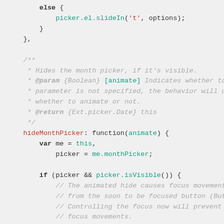[Figure (screenshot): JavaScript source code snippet showing a hideMonthPicker function with JSDoc comment block and code body including conditional logic]